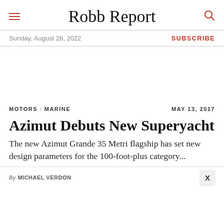Robb Report
Sunday, August 28, 2022   SUBSCRIBE
MOTORS / MARINE   MAY 13, 2017
Azimut Debuts New Superyacht
The new Azimut Grande 35 Metri flagship has set new design parameters for the 100-foot-plus category...
By MICHAEL VERDON